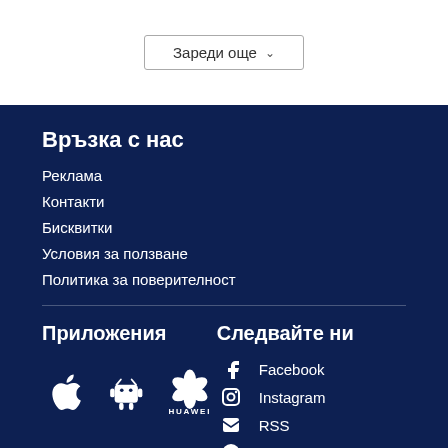Зареди още
Връзка с нас
Реклама
Контакти
Бисквитки
Условия за ползване
Политика за поверителност
Приложения
[Figure (logo): App store icons: Apple, Android, Huawei]
Следвайте ни
Facebook
Instagram
RSS
Telegram